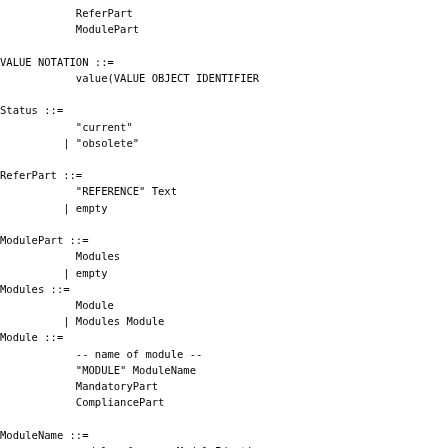ReferPart
            ModulePart

VALUE NOTATION ::=
            value(VALUE OBJECT IDENTIFIER

Status ::=
            "current"
          | "obsolete"

ReferPart ::=
            "REFERENCE" Text
          | empty

ModulePart ::=
            Modules
          | empty
Modules ::=
            Module
          | Modules Module
Module ::=
            -- name of module --
            "MODULE" ModuleName
            MandatoryPart
            CompliancePart

ModuleName ::=
            modulereference ModuleIdenti
          -- must not be empty unless co
          -- in MIB Module